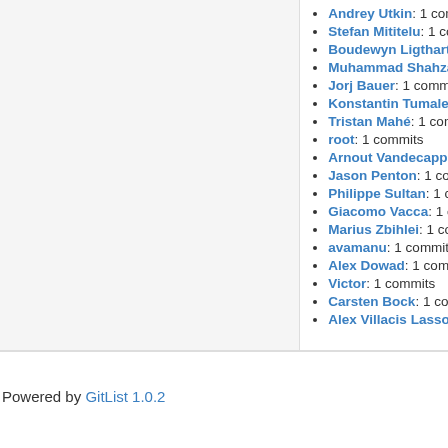Andrey Utkin: 1 commits
Stefan Mititelu: 1 commits
Boudewyn Ligthart: 1 commits
Muhammad Shahzad: 1 commits
Jorj Bauer: 1 commits
Konstantin Tumalevic: 1 commits
Tristan Mahé: 1 commits
root: 1 commits
Arnout Vandecappelle: 1 commits
Jason Penton: 1 commits
Philippe Sultan: 1 commits
Giacomo Vacca: 1 commits
Marius Zbihlei: 1 commits
avamanu: 1 commits
Alex Dowad: 1 commits
Victor: 1 commits
Carsten Bock: 1 commits
Alex Villacis Lasso: 1 commits
Powered by GitList 1.0.2